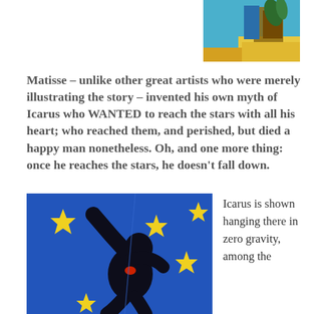[Figure (photo): Small artwork image in the top right area, colorful painting detail]
Matisse – unlike other great artists who were merely illustrating the story – invented his own myth of Icarus who WANTED to reach the stars with all his heart; who reached them, and perished, but died a happy man nonetheless. Oh, and one more thing: once he reaches the stars, he doesn't fall down.
[Figure (photo): Matisse's Icarus artwork – a dark silhouette figure with a red spot on chest against a blue background with yellow star bursts]
Icarus is shown hanging there in zero gravity, among the